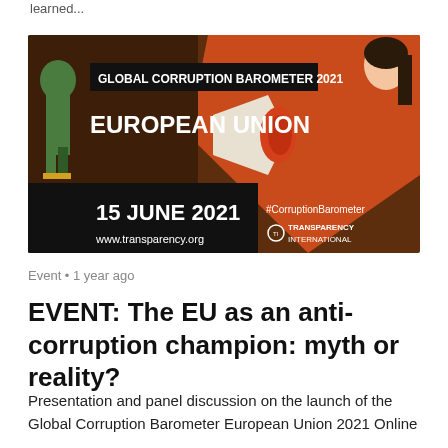learned...
[Figure (illustration): Global Corruption Barometer 2021 European Union event banner. Dark brown/orange background with illustrated figures. Text reads: GLOBAL CORRUPTION BAROMETER 2021 EUROPEAN UNION, 15 JUNE 2021, www.transparency.org, #CorruptionBarometer, TRANSPARENCY INTERNATIONAL logo.]
Event • 1 year ago
EVENT: The EU as an anti-corruption champion: myth or reality?
Presentation and panel discussion on the launch of the Global Corruption Barometer European Union 2021 Online